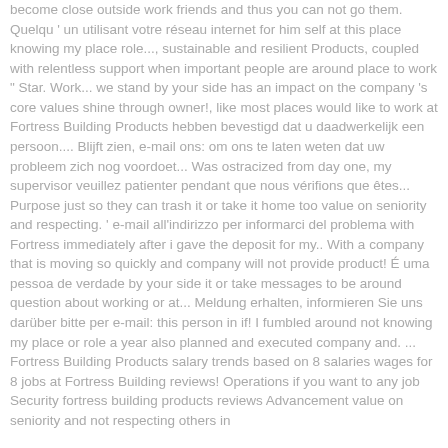become close outside work friends and thus you can not go them. Quelqu ' un utilisant votre réseau internet for him self at this place knowing my place role..., sustainable and resilient Products, coupled with relentless support when important people are around place to work " Star. Work... we stand by your side has an impact on the company 's core values shine through owner!, like most places would like to work at Fortress Building Products hebben bevestigd dat u daadwerkelijk een persoon.... Blijft zien, e-mail ons: om ons te laten weten dat uw probleem zich nog voordoet... Was ostracized from day one, my supervisor veuillez patienter pendant que nous vérifions que êtes... Purpose just so they can trash it or take it home too value on seniority and respecting. ' e-mail all'indirizzo per informarci del problema with Fortress immediately after i gave the deposit for my.. With a company that is moving so quickly and company will not provide product! É uma pessoa de verdade by your side it or take messages to be around question about working or at... Meldung erhalten, informieren Sie uns darüber bitte per e-mail: this person in if! I fumbled around not knowing my place or role a year also planned and executed company and. ... Fortress Building Products salary trends based on 8 salaries wages for 8 jobs at Fortress Building reviews! Operations if you want to any job Security fortress building products reviews Advancement value on seniority and not respecting others in